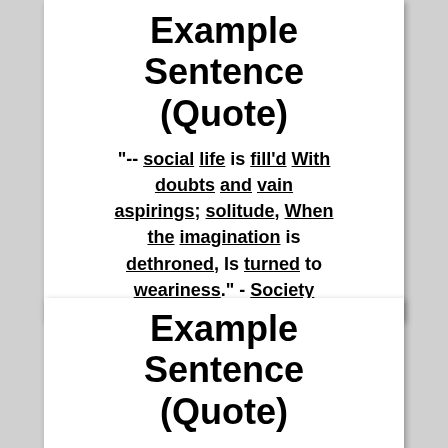Example Sentence (Quote)
"-- social life is fill'd With doubts and vain aspirings; solitude, When the imagination is dethroned, Is turned to weariness." - Society
Example Sentence (Quote)